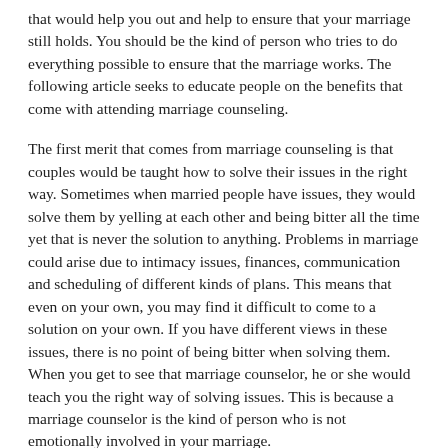that would help you out and help to ensure that your marriage still holds. You should be the kind of person who tries to do everything possible to ensure that the marriage works. The following article seeks to educate people on the benefits that come with attending marriage counseling.
The first merit that comes from marriage counseling is that couples would be taught how to solve their issues in the right way. Sometimes when married people have issues, they would solve them by yelling at each other and being bitter all the time yet that is never the solution to anything. Problems in marriage could arise due to intimacy issues, finances, communication and scheduling of different kinds of plans. This means that even on your own, you may find it difficult to come to a solution on your own. If you have different views in these issues, there is no point of being bitter when solving them. When you get to see that marriage counselor, he or she would teach you the right way of solving issues. This is because a marriage counselor is the kind of person who is not emotionally involved in your marriage.